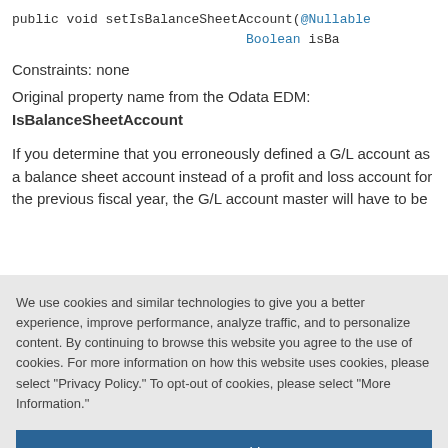public void setIsBalanceSheetAccount(@Nullable Boolean isBa
Constraints: none
Original property name from the Odata EDM: IsBalanceSheetAccount
If you determine that you erroneously defined a G/L account as a balance sheet account instead of a profit and loss account for the previous fiscal year, the G/L account master will have to be
We use cookies and similar technologies to give you a better experience, improve performance, analyze traffic, and to personalize content. By continuing to browse this website you agree to the use of cookies. For more information on how this website uses cookies, please select "Privacy Policy." To opt-out of cookies, please select "More Information."
Accept Cookies
More Information
Privacy Policy | Powered by: TrustArc